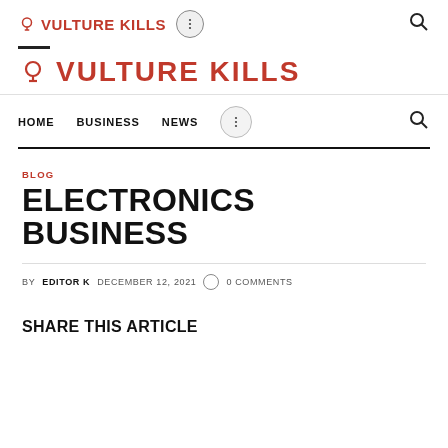VULTURE KILLS
VULTURE KILLS
HOME  BUSINESS  NEWS
BLOG
ELECTRONICS BUSINESS
BY EDITOR K  DECEMBER 12, 2021  0 COMMENTS
SHARE THIS ARTICLE